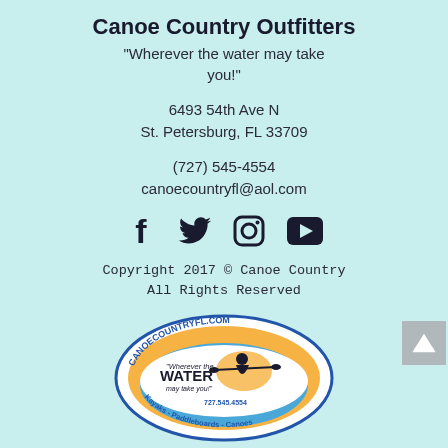Canoe Country Outfitters
"Wherever the water may take you!"
6493 54th Ave N
St. Petersburg, FL 33709
(727) 545-4554
canoecountryfl@aol.com
[Figure (illustration): Social media icons: Facebook, Twitter, Instagram, YouTube]
Copyright 2017 © Canoe Country
All Rights Reserved
[Figure (logo): Canoe Country logo oval with text CANOECOUNTRYFL.COM, kayaker silhouette, paddle, orange and blue design, Wherever the Water may take you!, 727.545.4554, Kayaks - Paddleboards - Canoes]